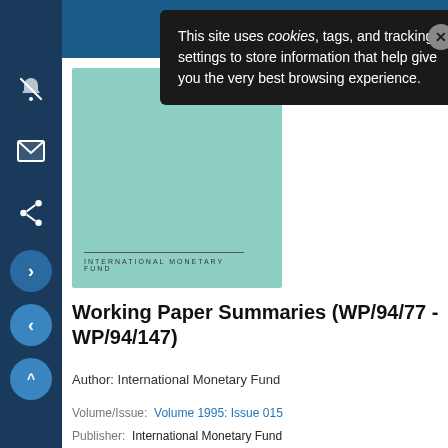This site uses cookies, tags, and tracking settings to store information that help give you the very best browsing experience.
[Figure (illustration): Book cover with teal/mint green background showing International Monetary Fund branding]
Working Paper Summaries (WP/94/77 - WP/94/147)
Author: International Monetary Fund
Volume/Issue: Volume 1995: Issue 015
Publisher: International Monetary Fund
ISBN: 9781451843200
ISSN: 1018-5941
Pages: 94